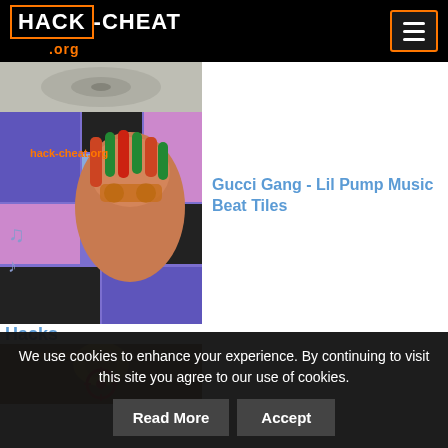HACK-CHEAT.org
[Figure (photo): Partial thumbnail image at top, appears to be a music or disc related photo]
[Figure (photo): Gucci Gang - Lil Pump Music Beat Tiles app screenshot with rapper image on colorful piano tiles background, watermark hack-cheat.org]
Gucci Gang - Lil Pump Music Beat Tiles
Hacks
[Figure (photo): Partial thumbnail of a game or app screenshot with hack-cheat.org watermark, showing a character with a targeting reticle]
We use cookies to enhance your experience. By continuing to visit this site you agree to our use of cookies.
Read More
Accept